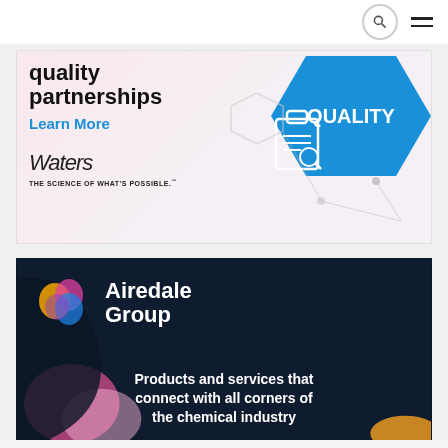Navigation bar with search and menu icons
[Figure (advertisement): Waters Corporation advertisement featuring 'quality partnerships' headline, 'Learn More' link in blue, Waters logo with tagline 'THE SCIENCE OF WHAT'S POSSIBLE.', and blue hexagonal QUALITY graphic with clipboard/checklist icon]
[Figure (advertisement): Airedale Group advertisement with dark navy background, colorful blob logo, company name 'Airedale Group' in white, and tagline 'Products and services that connect with all corners of the chemical industry']